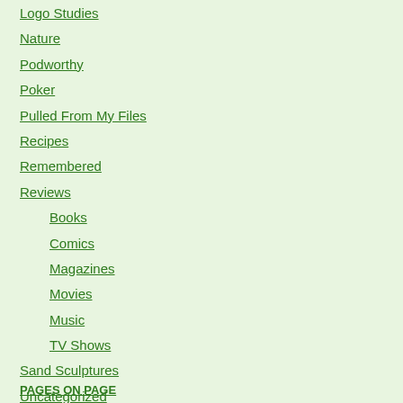Logo Studies
Nature
Podworthy
Poker
Pulled From My Files
Recipes
Remembered
Reviews
Books
Comics
Magazines
Movies
Music
TV Shows
Sand Sculptures
Uncategorized
PAGES ON PAGE